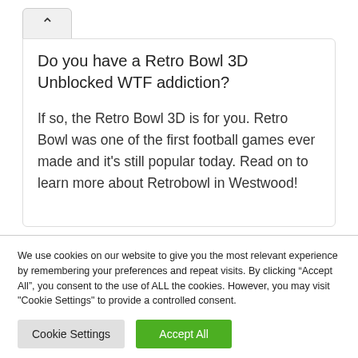Do you have a Retro Bowl 3D Unblocked WTF addiction?
If so, the Retro Bowl 3D is for you. Retro Bowl was one of the first football games ever made and it's still popular today. Read on to learn more about Retrobowl in Westwood!
We use cookies on our website to give you the most relevant experience by remembering your preferences and repeat visits. By clicking “Accept All”, you consent to the use of ALL the cookies. However, you may visit "Cookie Settings" to provide a controlled consent.